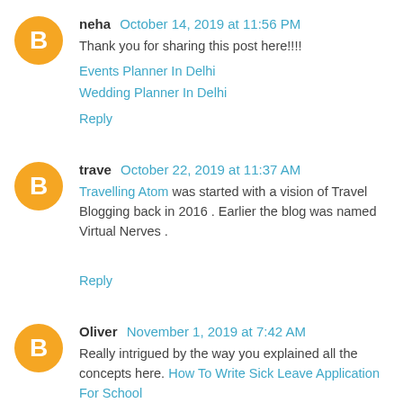neha October 14, 2019 at 11:56 PM
Thank you for sharing this post here!!!!
Events Planner In Delhi
Wedding Planner In Delhi
Reply
trave October 22, 2019 at 11:37 AM
Travelling Atom was started with a vision of Travel Blogging back in 2016 . Earlier the blog was named Virtual Nerves .
Reply
Oliver November 1, 2019 at 7:42 AM
Really intrigued by the way you explained all the concepts here. How To Write Sick Leave Application For School